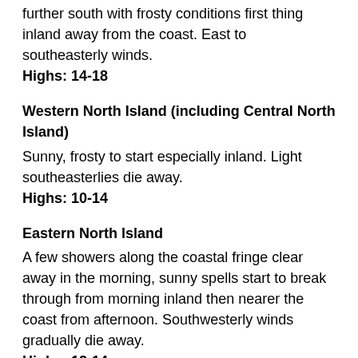further south with frosty conditions first thing inland away from the coast. East to southeasterly winds. Highs: 14-18
Western North Island (including Central North Island)
Sunny, frosty to start especially inland. Light southeasterlies die away.
Highs: 10-14
Eastern North Island
A few showers along the coastal fringe clear away in the morning, sunny spells start to break through from morning inland then nearer the coast from afternoon. Southwesterly winds gradually die away.
Highs: 12-14
Wellington
Morning cloud breaks away then sunny, light southerlies tend to the north to the afternoon.